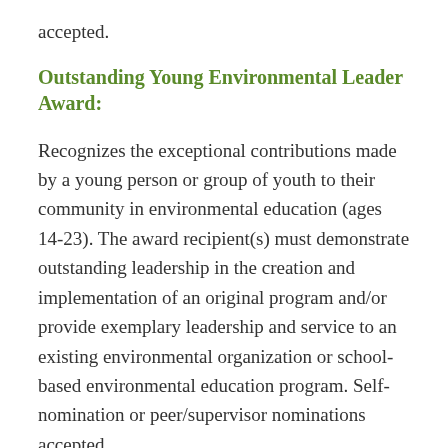accepted.
Outstanding Young Environmental Leader Award:
Recognizes the exceptional contributions made by a young person or group of youth to their community in environmental education (ages 14-23). The award recipient(s) must demonstrate outstanding leadership in the creation and implementation of an original program and/or provide exemplary leadership and service to an existing environmental organization or school-based environmental education program. Self-nomination or peer/supervisor nominations accepted.